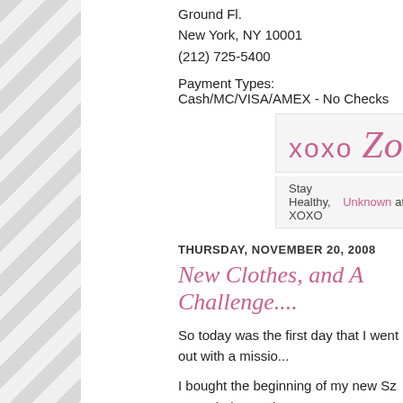Ground Fl.
New York, NY 10001
(212) 725-5400
Payment Types: Cash/MC/VISA/AMEX - No Checks
[Figure (illustration): Blog signature graphic showing 'xoxo Zoe' in pink cursive/script lettering on a light grey background box]
Stay Healthy, XOXO Unknown at 11:26 PM  1 comment:
THURSDAY, NOVEMBER 20, 2008
New Clothes, and A Challenge....
So today was the first day that I went out with a missio...
I bought the beginning of my new Sz 6 wardrobe, and Friends and Family Sale after signing up on the site. T... until Sunday.